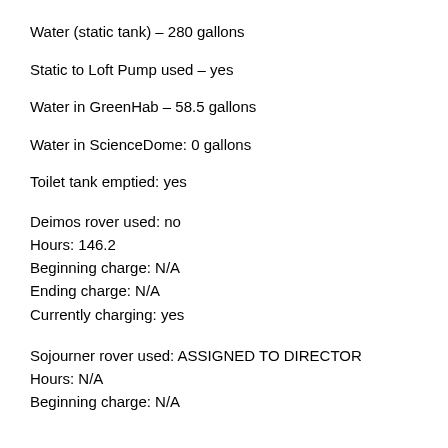Water (static tank) – 280 gallons
Static to Loft Pump used – yes
Water in GreenHab – 58.5 gallons
Water in ScienceDome: 0 gallons
Toilet tank emptied: yes
Deimos rover used: no
Hours: 146.2
Beginning charge: N/A
Ending charge: N/A
Currently charging: yes
Sojourner rover used: ASSIGNED TO DIRECTOR
Hours: N/A
Beginning charge: N/A